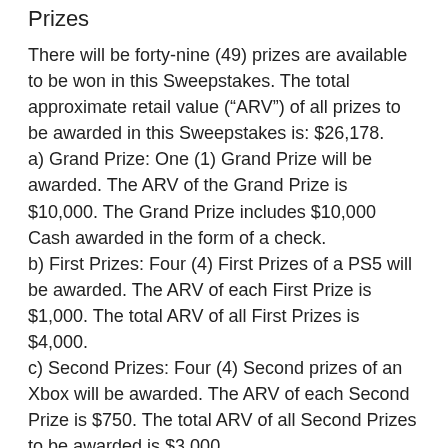Prizes
There will be forty-nine (49) prizes are available to be won in this Sweepstakes. The total approximate retail value (“ARV”) of all prizes to be awarded in this Sweepstakes is: $26,178. a) Grand Prize: One (1) Grand Prize will be awarded. The ARV of the Grand Prize is $10,000. The Grand Prize includes $10,000 Cash awarded in the form of a check. b) First Prizes: Four (4) First Prizes of a PS5 will be awarded. The ARV of each First Prize is $1,000. The total ARV of all First Prizes is $4,000. c) Second Prizes: Four (4) Second prizes of an Xbox will be awarded. The ARV of each Second Prize is $750. The total ARV of all Second Prizes to be awarded is $3,000. d) Third Prizes: Eight (8) prizes of a mini fridge will be awarded (each, a “Third Prize”). The ARV of each Third Prize is $400. The total ARV of all Third Prizes to be